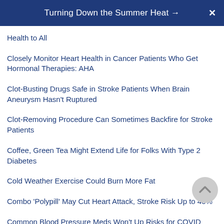Turning Down the Summer Heat →  X
Health to All
Closely Monitor Heart Health in Cancer Patients Who Get Hormonal Therapies: AHA
Clot-Busting Drugs Safe in Stroke Patients When Brain Aneurysm Hasn't Ruptured
Clot-Removing Procedure Can Sometimes Backfire for Stroke Patients
Coffee, Green Tea Might Extend Life for Folks With Type 2 Diabetes
Cold Weather Exercise Could Burn More Fat
Combo 'Polypill' May Cut Heart Attack, Stroke Risk Up to 40%
Common Blood Pressure Meds Won't Up Risks for COVID Patients: Study
Common Complication of Pregnancy Tied to Higher